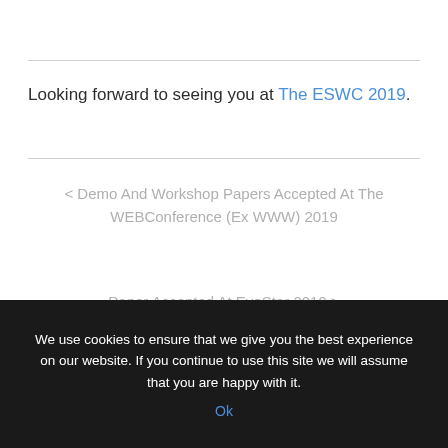Looking forward to seeing you at The ESWC 2019.
< Demo And Workshop Papers Accepted At The WEBConference (Ex WWW) 2019
Paper Accepted At EvoStar 2019 >
We use cookies to ensure that we give you the best experience on our website. If you continue to use this site we will assume that you are happy with it. Ok